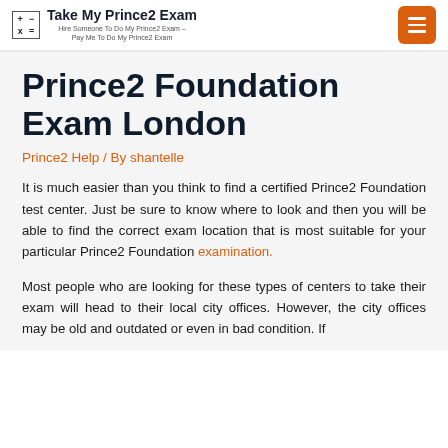Take My Prince2 Exam — Hire Someone To Do My Prince2 Exam – Pay Me To Do My Prince2 Exam
Prince2 Foundation Exam London
Prince2 Help / By shantelle
It is much easier than you think to find a certified Prince2 Foundation test center. Just be sure to know where to look and then you will be able to find the correct exam location that is most suitable for your particular Prince2 Foundation examination.
Most people who are looking for these types of centers to take their exam will head to their local city offices. However, the city offices may be old and outdated or even in bad condition. If